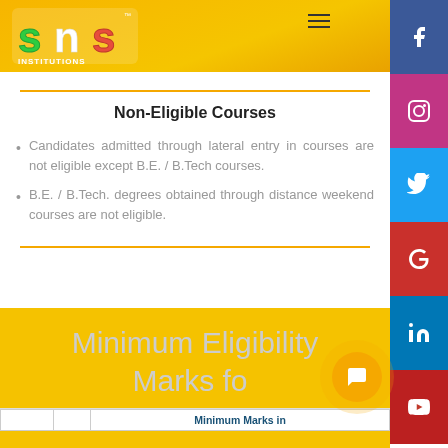[Figure (logo): SNS Institutions logo with colorful S, N, S letters on orange/yellow background]
Non-Eligible Courses
Candidates admitted through lateral entry in courses are not eligible except B.E. / B.Tech courses.
B.E. / B.Tech. degrees obtained through distance weekend courses are not eligible.
Minimum Eligibility Marks for M.E. Courses
|  |  | Minimum Marks in |
| --- | --- | --- |